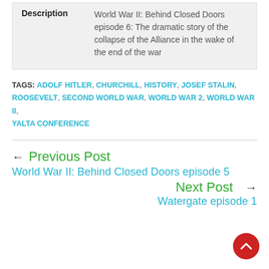|  |  |
| --- | --- |
| Description | World War II: Behind Closed Doors episode 6: The dramatic story of the collapse of the Alliance in the wake of the end of the war |
TAGS: ADOLF HITLER, CHURCHILL, HISTORY, JOSEF STALIN, ROOSEVELT, SECOND WORLD WAR, WORLD WAR 2, WORLD WAR II, YALTA CONFERENCE
← Previous Post
World War II: Behind Closed Doors episode 5
Next Post →
Watergate episode 1